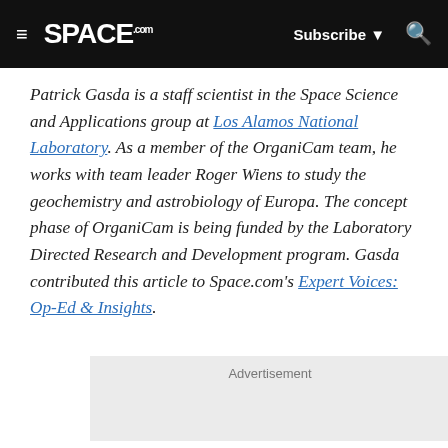SPACE.com — Subscribe, Search
Patrick Gasda is a staff scientist in the Space Science and Applications group at Los Alamos National Laboratory. As a member of the OrganiCam team, he works with team leader Roger Wiens to study the geochemistry and astrobiology of Europa. The concept phase of OrganiCam is being funded by the Laboratory Directed Research and Development program. Gasda contributed this article to Space.com's Expert Voices: Op-Ed & Insights.
Advertisement